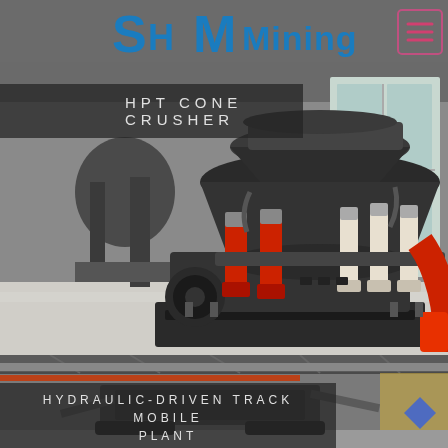[Figure (photo): SH Mining company logo header with dark grey background and blue bold lettering reading S H M Mining with a hamburger menu icon in top right corner]
[Figure (photo): Large industrial HPT Cone Crusher machine photographed in a factory/warehouse setting. Machine is dark grey/black with red hydraulic cylinders. Title overlay reads HPT CONE CRUSHER.]
[Figure (photo): Hydraulic-Driven Track Mobile Plant shown in industrial warehouse setting with overhead cranes. Title overlay reads HYDRAULIC-DRIVEN TRACK MOBILE PLANT.]